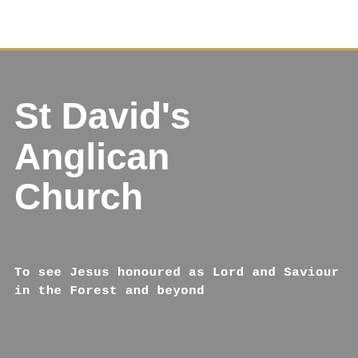[Figure (photo): Top white bar with thin gold/amber horizontal line at the bottom edge, partially visible photo content (faces/figures) cropped at the top of the page.]
St David's Anglican Church
To see Jesus honoured as Lord and Saviour in the Forest and beyond